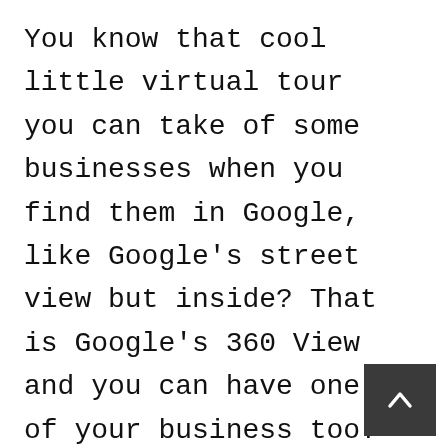You know that cool little virtual tour you can take of some businesses when you find them in Google, like Google's street view but inside? That is Google's 360 View and you can have one of your business too!

Making a good first impression online is crucial. Allowing your